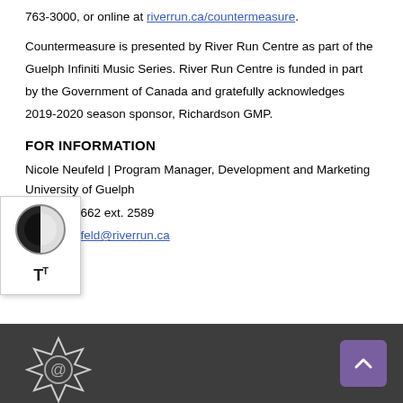763-3000, or online at riverrun.ca/countermeasure.
Countermeasure is presented by River Run Centre as part of the Guelph Infiniti Music Series. River Run Centre is funded in part by the Government of Canada and gratefully acknowledges 2019-2020 season sponsor, Richardson GMP.
FOR INFORMATION
Nicole Neufeld | Program Manager, Development and Marketing
University of Guelph
519-837-5662 ext. 2589
nicole.neufeld@riverrun.ca
[Figure (other): Dark footer bar with an email/envelope icon at lower left and a purple scroll-to-top button with an upward chevron at lower right. Left side has a star-shaped decorative element around an @ symbol.]